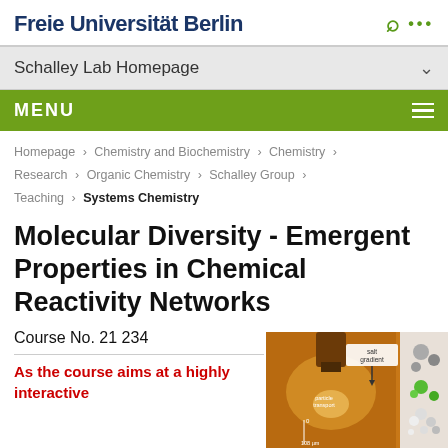Freie Universität Berlin
Schalley Lab Homepage
MENU
Homepage > Chemistry and Biochemistry > Chemistry > Research > Organic Chemistry > Schalley Group > Teaching > Systems Chemistry
Molecular Diversity - Emergent Properties in Chemical Reactivity Networks
Course No. 21 234
As the course aims at a highly interactive
[Figure (photo): Laboratory photo showing a microfluidic or chemical experiment setup with orange/golden liquid, annotations showing 'salt gradient', 'particle transport', '0', '108 µm', and molecular/particle diagrams on the right side.]